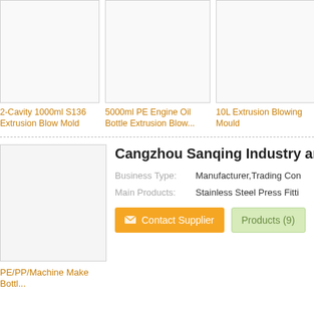[Figure (photo): Product image placeholder for 2-Cavity 1000ml S136 Extrusion Blow Mold]
2-Cavity 1000ml S136 Extrusion Blow Mold
[Figure (photo): Product image placeholder for 5000ml PE Engine Oil Bottle Extrusion Blow...]
5000ml PE Engine Oil Bottle Extrusion Blow...
[Figure (photo): Product image placeholder for 10L Extrusion Blowing Mould]
10L Extrusion Blowing Mould
[Figure (logo): Supplier logo placeholder for Cangzhou Sanqing Industry and Trading Co.]
Cangzhou Sanqing Industry and Tr
Business Type: Manufacturer,Trading Con
Main Products: Stainless Steel Press Fitti
Contact Supplier
Products (9)
PE/PP/Machine Make
Bottl...